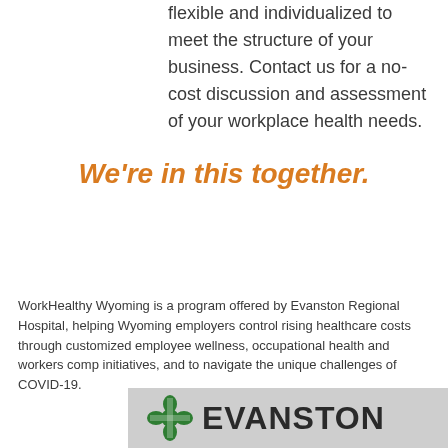flexible and individualized to meet the structure of your business. Contact us for a no-cost discussion and assessment of your workplace health needs.
We're in this together.
WorkHealthy Wyoming is a program offered by Evanston Regional Hospital, helping Wyoming employers control rising healthcare costs through customized employee wellness, occupational health and workers comp initiatives, and to navigate the unique challenges of COVID-19.
[Figure (logo): Evanston Regional Hospital logo with green cross icon and 'EVANSTON' text on grey background]